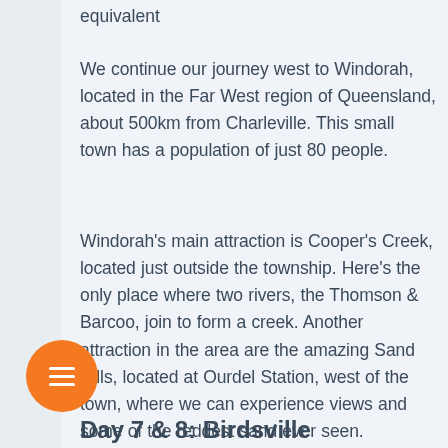equivalent
We continue our journey west to Windorah, located in the Far West region of Queensland, about 500km from Charleville. This small town has a population of just 80 people.
Windorah's main attraction is Cooper's Creek, located just outside the township. Here's the only place where two rivers, the Thomson & Barcoo, join to form a creek. Another attraction in the area are the amazing Sand Hills, located at Ourdel Station, west of the town, where we can experience views and some of the reddest sand ever seen.
Day 7 & 8: Birdsville